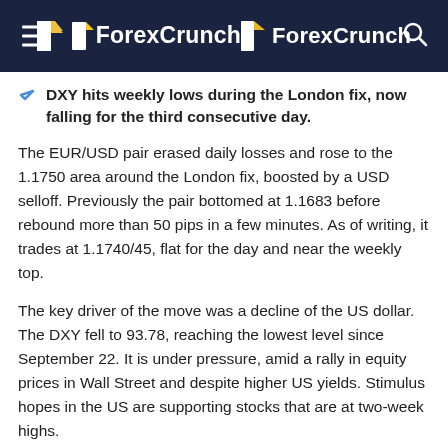ForexCrunch
DXY hits weekly lows during the London fix, now falling for the third consecutive day.
The EUR/USD pair erased daily losses and rose to the 1.1750 area around the London fix, boosted by a USD selloff. Previously the pair bottomed at 1.1683 before rebound more than 50 pips in a few minutes. As of writing, it trades at 1.1740/45, flat for the day and near the weekly top.
The key driver of the move was a decline of the US dollar. The DXY fell to 93.78, reaching the lowest level since September 22. It is under pressure, amid a rally in equity prices in Wall Street and despite higher US yields. Stimulus hopes in the US are supporting stocks that are at two-week highs.
Market participants mostly ignored economic data from the